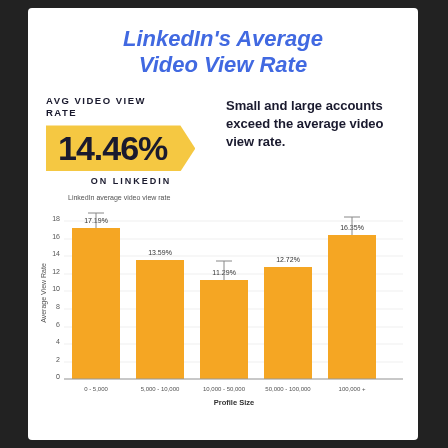LinkedIn's Average Video View Rate
AVG VIDEO VIEW RATE
14.46%
ON LINKEDIN
Small and large accounts exceed the average video view rate.
[Figure (bar-chart): LinkedIn average video view rate]